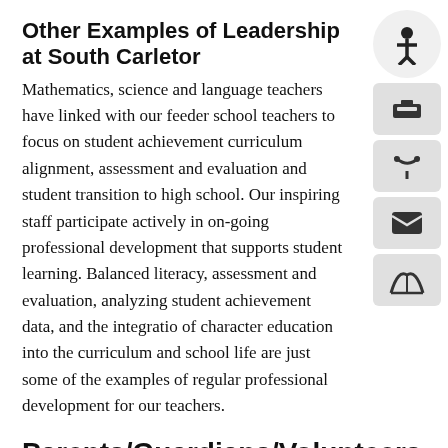Other Examples of Leadership at South Carleton
Mathematics, science and language teachers have linked with our feeder school teachers to focus on student achievement curriculum alignment, assessment and evaluation and student transition to high school. Our inspiring staff participate actively in on-going professional development that supports student learning. Balanced literacy, assessment and evaluation, analyzing student achievement data, and the integration of character education into the curriculum and school life are just some of the examples of regular professional development for our teachers.
Parents/Guardians/Volunteers
School Council continues to support and encourage activities at South Carleton while providing the principal with meaningful and valued input. Parents are kept up